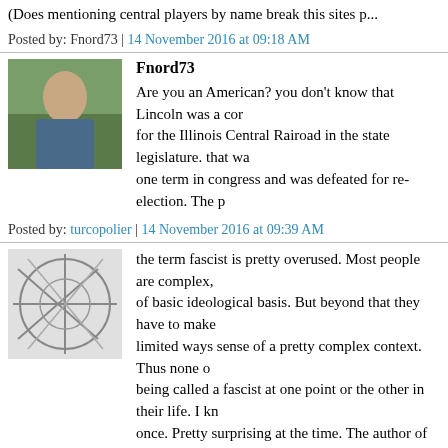(Does mentioning central players by name break this sites p...
Posted by: Fnord73 | 14 November 2016 at 09:18 AM
Fnord73
Are you an American? you don't know that Lincoln was a cor... for the Illinois Central Rairoad in the state legislature. that wa... one term in congress and was defeated for re-election. The p... me you little shit. You do not slander people on my site. I don... you are banned from SST. pl
Posted by: turcopolier | 14 November 2016 at 09:39 AM
the term fascist is pretty overused. Most people are complex,... of basic ideological basis. But beyond that they have to make... limited ways sense of a pretty complex context. Thus none o... being called a fascist at one point or the other in their life. I kn... once. Pretty surprising at the time. The author of the stateme... Not me though. ;)
On the other hand, I did occasionally walk out of cacophono... show I have a basic level of distrust in basic democracy? How... cacophony. As a rule the people that have the least to say o...